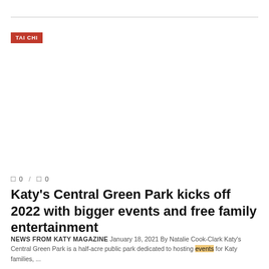TAI CHI
0 / 0
Katy's Central Green Park kicks off 2022 with bigger events and free family entertainment
NEWS FROM KATY MAGAZINE January 18, 2021 By Natalie Cook-Clark Katy's Central Green Park is a half-acre public park dedicated to hosting events for Katy families, ...